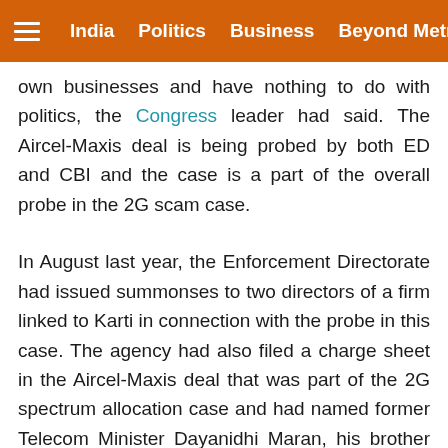≡ India  Politics  Business  Beyond Metros
own businesses and have nothing to do with politics, the Congress leader had said. The Aircel-Maxis deal is being probed by both ED and CBI and the case is a part of the overall probe in the 2G scam case.
In August last year, the Enforcement Directorate had issued summonses to two directors of a firm linked to Karti in connection with the probe in this case. The agency had also filed a charge sheet in the Aircel-Maxis deal that was part of the 2G spectrum allocation case and had named former Telecom Minister Dayanidhi Maran, his brother Kalanithi, his wife Kavery Kalanithi and few other individuals and two companies as accused in the case.